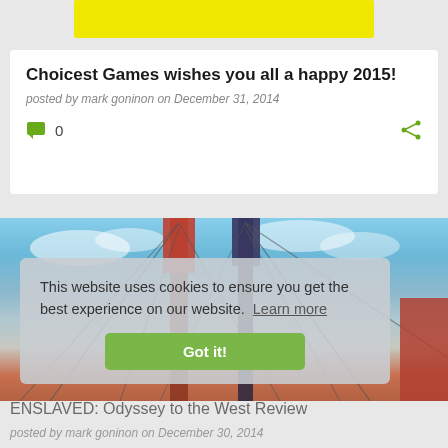[Figure (other): Yellow banner/advertisement strip at top of page]
Choicest Games wishes you all a happy 2015!
posted by mark goninon on December 31, 2014
0 comments, share icon
[Figure (photo): Screenshot from ENSLAVED: Odyssey to the West showing a bridge with cables against a blue sky, with reddish structures]
This website uses cookies to ensure you get the best experience on our website. Learn more
Got it!
ENSLAVED: Odyssey to the West Review
posted by mark goninon on December 30, 2014